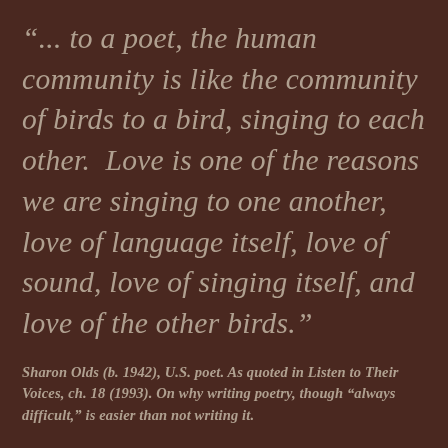"... to a poet, the human community is like the community of birds to a bird, singing to each other.  Love is one of the reasons we are singing to one another, love of language itself, love of sound, love of singing itself, and love of the other birds."
Sharon Olds (b. 1942), U.S. poet. As quoted in Listen to Their Voices, ch. 18 (1993). On why writing poetry, though "always difficult," is easier than not writing it.